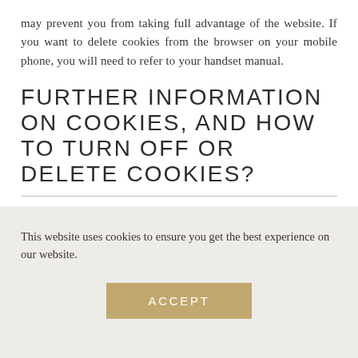may prevent you from taking full advantage of the website. If you want to delete cookies from the browser on your mobile phone, you will need to refer to your handset manual.
FURTHER INFORMATION ON COOKIES, AND HOW TO TURN OFF OR DELETE COOKIES?
This website uses cookies to ensure you get the best experience on our website.
ACCEPT